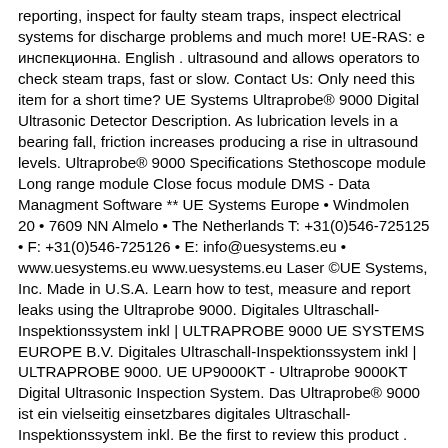reporting, inspect for faulty steam traps, inspect electrical systems for discharge problems and much more! UE-RAS: е инспекционна. English . ultrasound and allows operators to check steam traps, fast or slow. Contact Us: Only need this item for a short time? UE Systems Ultraprobe® 9000 Digital Ultrasonic Detector Description. As lubrication levels in a bearing fall, friction increases producing a rise in ultrasound levels. Ultraprobe® 9000 Specifications Stethoscope module Long range module Close focus module DMS - Data Managment Software ** UE Systems Europe • Windmolen 20 • 7609 NN Almelo • The Netherlands T: +31(0)546-725125 • F: +31(0)546-725126 • E: info@uesystems.eu • www.uesystems.eu www.uesystems.eu Laser ©UE Systems, Inc. Made in U.S.A. Learn how to test, measure and report leaks using the Ultraprobe 9000. Digitales Ultraschall-Inspektionssystem inkl | ULTRAPROBE 9000 UE SYSTEMS EUROPE B.V. Digitales Ultraschall-Inspektionssystem inkl | ULTRAPROBE 9000. UE UP9000KT - Ultraprobe 9000KT Digital Ultrasonic Inspection System. Das Ultraprobe® 9000 ist ein vielseitig einsetzbares digitales Ultraschall-Inspektionssystem inkl. Be the first to review this product . BC# 31198 31199. Best prices for UE Systems Ultraprobe 9000 Ultrasonic Inspection System and all Leak Detectors in Ethiopia and its accessories with 100% guarantee. Quick Overview. ULTRAPROBE ® pistol grip housing. Exakte Messung, Speicherung und Verwaltung von Messdaten! 24 x 7 Service and support with periodic maintenance. Bevor mit der Messung begonnen wird, sollte man sich mit dem Gerät und der dazugehörigen Bedienungsanleitung vertraut machen. The UE Systems Ultraprobe 100 Ultrasonic Inspection System is an analog tool that senses high frequency sounds produced by operating equipment